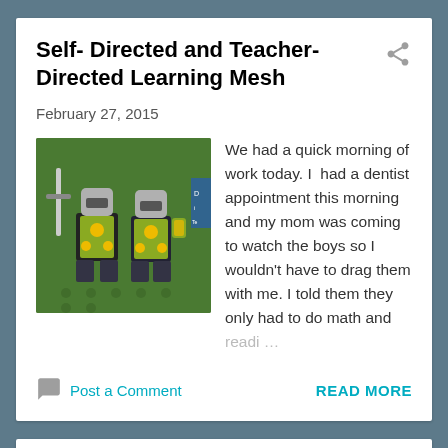Self- Directed and Teacher- Directed Learning Mesh
February 27, 2015
[Figure (photo): Two LEGO knight minifigures standing on a green LEGO base]
We had a quick morning of work today.  I  had a dentist appointment this morning and my mom was coming to watch the boys so I wouldn't have to drag them with me.  I told them they only had to do math and readi…
Post a Comment
READ MORE
It's All Fun and Games: Declaring a "Game Day" in our Homeschool